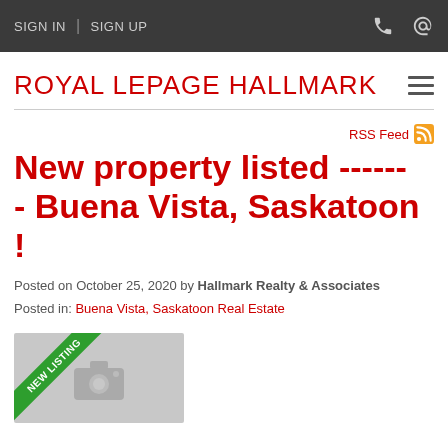SIGN IN | SIGN UP
ROYAL LEPAGE HALLMARK
RSS Feed
New property listed ------ - Buena Vista, Saskatoon !
Posted on October 25, 2020 by Hallmark Realty & Associates
Posted in: Buena Vista, Saskatoon Real Estate
[Figure (photo): New listing property photo placeholder with camera icon and green NEW LISTING ribbon banner]